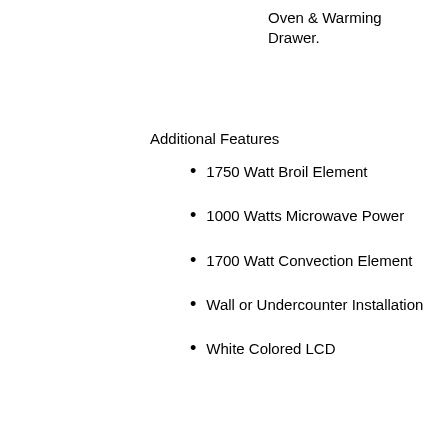Oven & Warming Drawer.
Additional Features
1750 Watt Broil Element
1000 Watts Microwave Power
1700 Watt Convection Element
Wall or Undercounter Installation
White Colored LCD